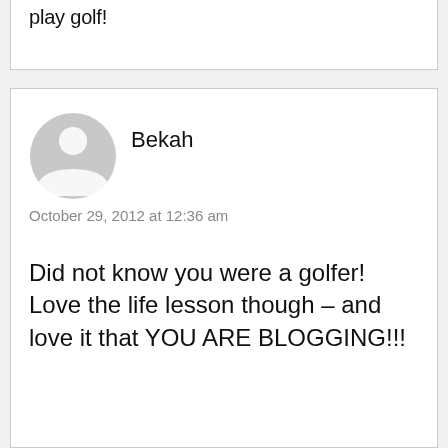play golf!
[Figure (illustration): Generic user avatar icon — grey circle with white silhouette of a person]
Bekah
October 29, 2012 at 12:36 am
Did not know you were a golfer! Love the life lesson though – and love it that YOU ARE BLOGGING!!!